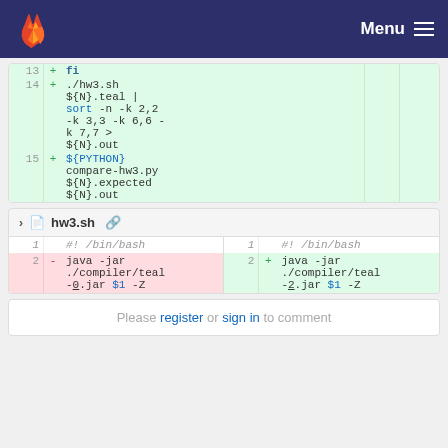GitLab navigation bar with Menu
[Figure (screenshot): Code diff showing lines 13-15 with added lines: fi, ./hw3.sh ${N}.teal | sort -n -k 2,2 -k 3,3 -k 6,6 -k 7,7 > ${N}.out, ${PYTHON} compare-hw3.py ${N}.expected ${N}.out]
hw3.sh
[Figure (screenshot): Code diff for hw3.sh showing line 1: #!/bin/bash (unchanged), line 2: java -jar ./compiler/teal -0.jar $1 -Z (removed) vs java -jar ./compiler/teal -2.jar $1 -Z (added)]
Please register or sign in to comment